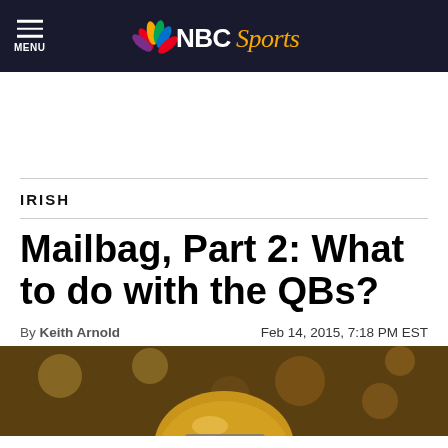NBC Sports — MENU
IRISH
Mailbag, Part 2: What to do with the QBs?
By Keith Arnold   Feb 14, 2015, 7:18 PM EST
[Figure (photo): A football player wearing a Notre Dame gold helmet with 'IRISH' printed on it, photographed from below against a blurred background.]